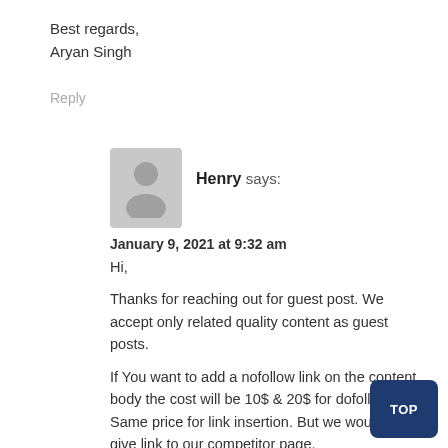Best regards,
Aryan Singh
Reply
Henry says:
January 9, 2021 at 9:32 am
Hi,
Thanks for reaching out for guest post. We accept only related quality content as guest posts.
If You want to add a nofollow link on the content body the cost will be 10$ & 20$ for dofollow link. Same price for link insertion. But we would not give link to our competitor page.
After 1 year we make the link nofollow.
Let us know your thoughts.